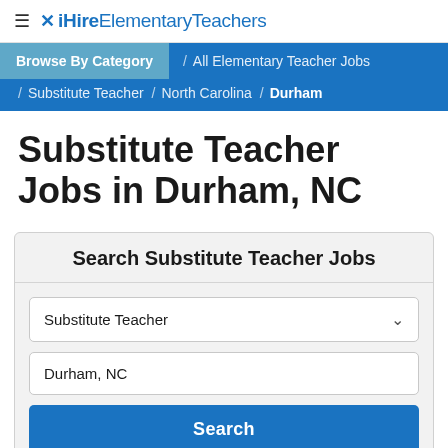≡ ✕ iHireElementaryTeachers
Browse By Category / All Elementary Teacher Jobs / Substitute Teacher / North Carolina / Durham
Substitute Teacher Jobs in Durham, NC
Search Substitute Teacher Jobs
Substitute Teacher
Durham, NC
Search